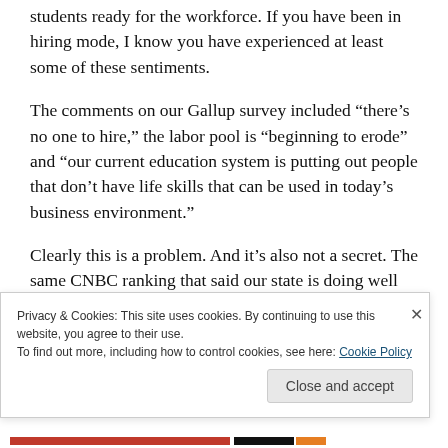students ready for the workforce. If you have been in hiring mode, I know you have experienced at least some of these sentiments.
The comments on our Gallup survey included “there’s no one to hire,” the labor pool is “beginning to erode” and “our current education system is putting out people that don’t have life skills that can be used in today’s business environment.”
Clearly this is a problem. And it’s also not a secret. The same CNBC ranking that said our state is doing well on
Privacy & Cookies: This site uses cookies. By continuing to use this website, you agree to their use.
To find out more, including how to control cookies, see here: Cookie Policy